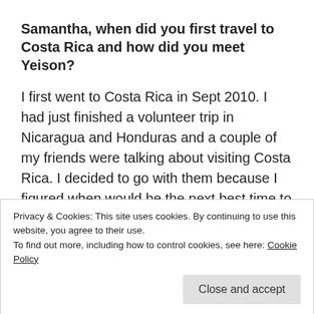Samantha, when did you first travel to Costa Rica and how did you meet Yeison?
I first went to Costa Rica in Sept 2010. I had just finished a volunteer trip in Nicaragua and Honduras and a couple of my friends were talking about visiting Costa Rica. I decided to go with them because I figured when would be the next best time to go with friends? We're already here, I might as well go!
Privacy & Cookies: This site uses cookies. By continuing to use this website, you agree to their use.
To find out more, including how to control cookies, see here: Cookie Policy
Close and accept